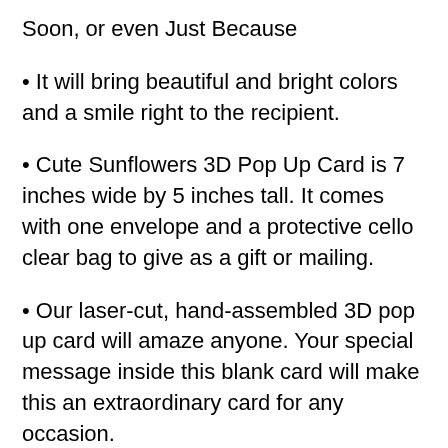Soon, or even Just Because
It will bring beautiful and bright colors and a smile right to the recipient.
Cute Sunflowers 3D Pop Up Card is 7 inches wide by 5 inches tall. It comes with one envelope and a protective cello clear bag to give as a gift or mailing.
Our laser-cut, hand-assembled 3D pop up card will amaze anyone. Your special message inside this blank card will make this an extraordinary card for any occasion.
Sunflowers are known for being “happy” flowers, making this 3D pop up card a perfect gift to bring joy to